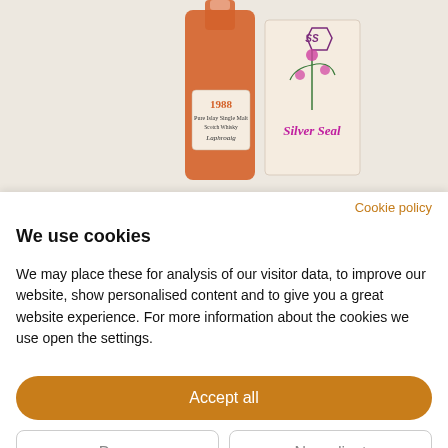[Figure (photo): Whisky bottle of Laphroaig 1988 Pure Islay Single Malt Scotch Whisky alongside a Silver Seal label with thistle motif and decorative shield logo.]
Cookie policy
We use cookies
We may place these for analysis of our visitor data, to improve our website, show personalised content and to give you a great website experience. For more information about the cookies we use open the settings.
Accept all
Deny
No, adjust